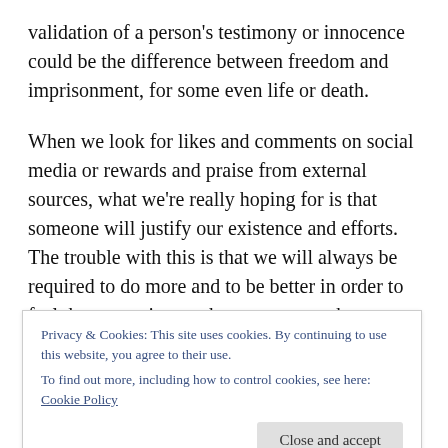validation of a person's testimony or innocence could be the difference between freedom and imprisonment, for some even life or death.
When we look for likes and comments on social media or rewards and praise from external sources, what we're really hoping for is that someone will justify our existence and efforts. The trouble with this is that we will always be required to do more and to be better in order to feel that our existence has purpose or that someone somewhere cares.
The...
Privacy & Cookies: This site uses cookies. By continuing to use this website, you agree to their use.
To find out more, including how to control cookies, see here: Cookie Policy
would never measure up. Our validation is assured